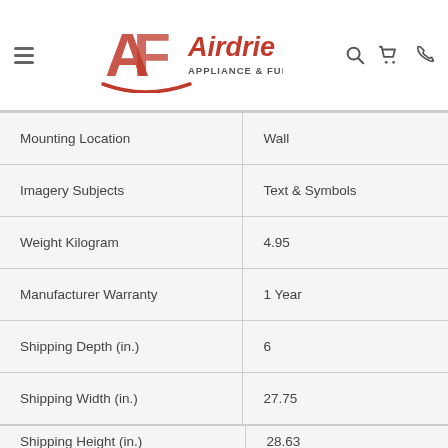Airdrie Appliance & Furniture
| Attribute | Value |
| --- | --- |
| Mounting Location | Wall |
| Imagery Subjects | Text & Symbols |
| Weight Kilogram | 4.95 |
| Manufacturer Warranty | 1 Year |
| Shipping Depth (in.) | 6 |
| Shipping Width (in.) | 27.75 |
| Shipping Height (in.) | 28.63 |